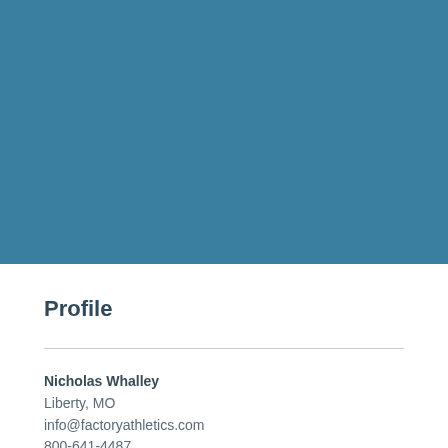[Figure (other): Solid teal/steel-blue rectangle covering the top portion of the page, serving as a decorative header background.]
Profile
Nicholas Whalley
Liberty, MO
info@factoryathletics.com
800-641-4487